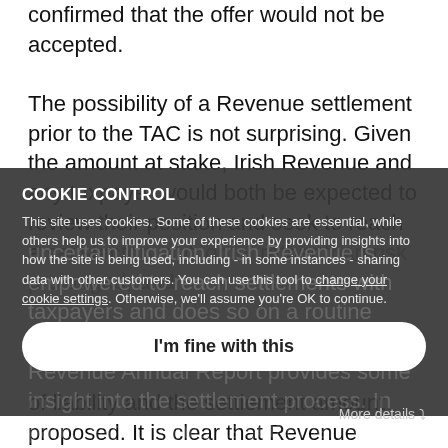confirmed that the offer would not be accepted.
The possibility of a Revenue settlement prior to the TAC is not surprising. Given the amount at stake, Irish Revenue and any taxpayer would both be expected to review their position and seek to reach a satisfactory outcome, rather than risk prolonged and uncertain litigation. Irish Revenue is empowered to reach settlements with taxpayers and does so on a routine basis. A number of publications and the Revenue Annual Report provides some insight into the settlement process. In particular, it highlights settlements in cases of technical complexity and cases with a high degree of liability and the settlement amount proposed. It is clear that Revenue closely scrutinise their position
COOKIE CONTROL
This site uses cookies. Some of these cookies are essential, while others help us to improve your experience by providing insights into how the site is being used, including - in some instances - sharing data with other customers. You can use this tool to change your cookie settings. Otherwise, we'll assume you're OK to continue.
I'm fine with this
More details